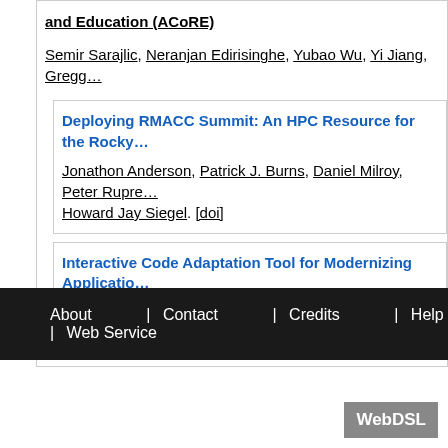and Education (ACoRE)
Semir Sarajlic, Neranjan Edirisinghe, Yubao Wu, Yi Jiang, Gregg…
Deploying RMACC Summit: An HPC Resource for the Rocky…
Jonathon Anderson, Patrick J. Burns, Daniel Milroy, Peter Rupre… Howard Jay Siegel. [doi]
Interactive Code Adaptation Tool for Modernizing Application… Landing Processors
Ritu Arora, Lars Koesterke. [doi]
About | Contact | Credits | Help | Web Service
WebDSL